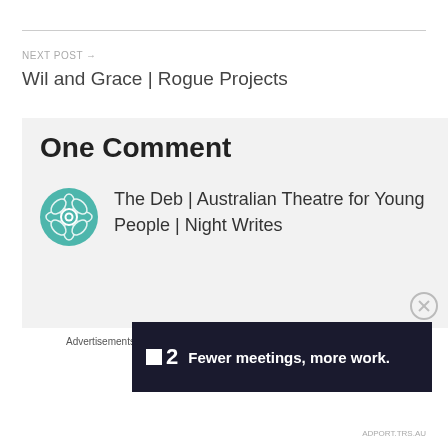NEXT POST →
Wil and Grace | Rogue Projects
One Comment
The Deb | Australian Theatre for Young People | Night Writes
Advertisements
[Figure (screenshot): Dark advertisement banner with logo '2' and text 'Fewer meetings, more work.']